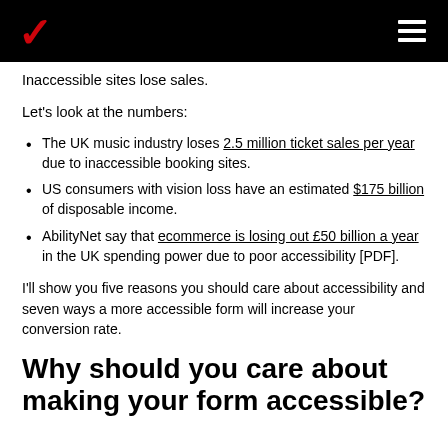Verizon logo and navigation
Inaccessible sites lose sales.
Let's look at the numbers:
The UK music industry loses 2.5 million ticket sales per year due to inaccessible booking sites.
US consumers with vision loss have an estimated $175 billion of disposable income.
AbilityNet say that ecommerce is losing out £50 billion a year in the UK spending power due to poor accessibility [PDF].
I'll show you five reasons you should care about accessibility and seven ways a more accessible form will increase your conversion rate.
Why should you care about making your form accessible?